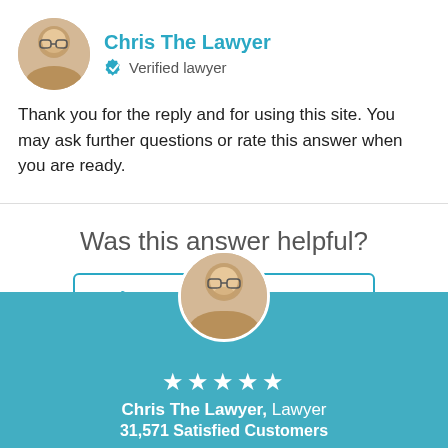Chris The Lawyer
Verified lawyer
Thank you for the reply and for using this site. You may ask further questions or rate this answer when you are ready.
Was this answer helpful?
[Figure (other): Two buttons: Yes (thumbs up icon) and No (thumbs down icon) for rating the answer]
[Figure (photo): Profile photo of Chris The Lawyer, a man with glasses and light beard]
★★★★★
Chris The Lawyer, Lawyer
31,571 Satisfied Customers